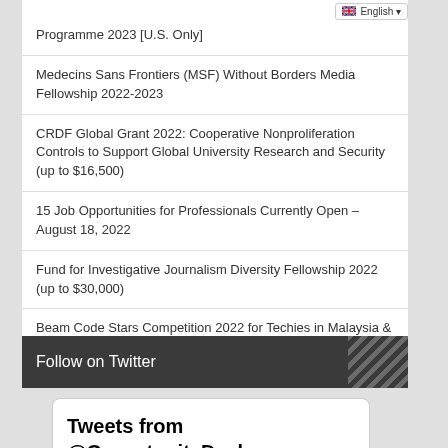Programme 2023 [U.S. Only]
Medecins Sans Frontiers (MSF) Without Borders Media Fellowship 2022-2023
CRDF Global Grant 2022: Cooperative Nonproliferation Controls to Support Global University Research and Security (up to $16,500)
15 Job Opportunities for Professionals Currently Open – August 18, 2022
Fund for Investigative Journalism Diversity Fellowship 2022 (up to $30,000)
Beam Code Stars Competition 2022 for Techies in Malaysia & Thailand
Follow on Twitter
Tweets from @OpportunityDesk